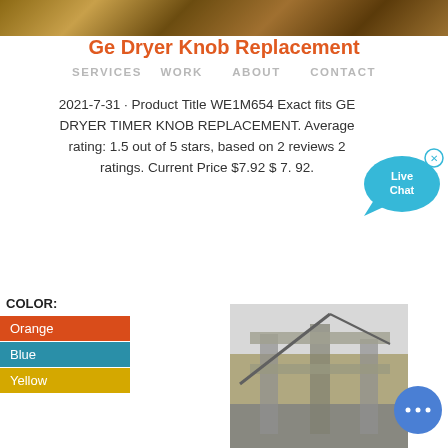[Figure (photo): Top banner image showing outdoor/terrain scene]
Ge Dryer Knob Replacement
SERVICES  WORK  ABOUT  CONTACT
2021-7-31 · Product Title WE1M654 Exact fits GE DRYER TIMER KNOB REPLACEMENT. Average rating: 1.5 out of 5 stars, based on 2 reviews 2 ratings. Current Price $7.92 $ 7. 92.
[Figure (illustration): Live Chat speech bubble widget with cyan color and X close button]
COLOR:
Orange
Blue
Yellow
[Figure (photo): Bottom photo showing construction site with crane and structural concrete elements]
[Figure (illustration): Blue circular chat button with ellipsis dots]